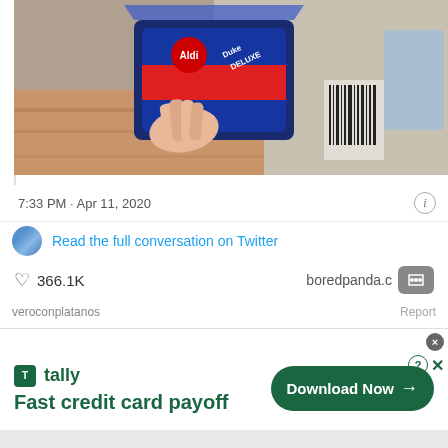[Figure (photo): Hand holding a blue package of Aldi Duke Deluxe product, on a wooden floor with a gray carpet in the background]
7:33 PM · Apr 11, 2020
Read the full conversation on Twitter
♡ 366.1K
boredpanda.c
veroconplatanos
Report
Final score:341
Add a comment...
POST
[Figure (screenshot): Advertisement banner for Tally app - Fast credit card payoff, with Download Now button]